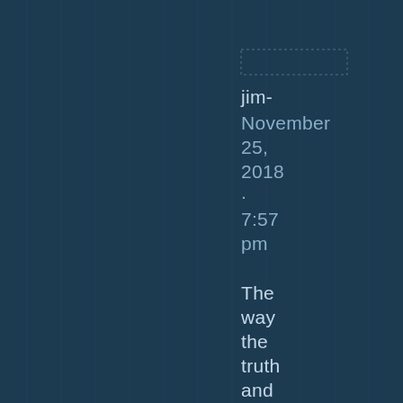jim- November 25, 2018 · 7:57 pm

The way the truth and the life? The claims
[Figure (other): Dark navy blue background with subtle vertical pinstripe lines and a dotted rectangle border near the top center-right area of the page]